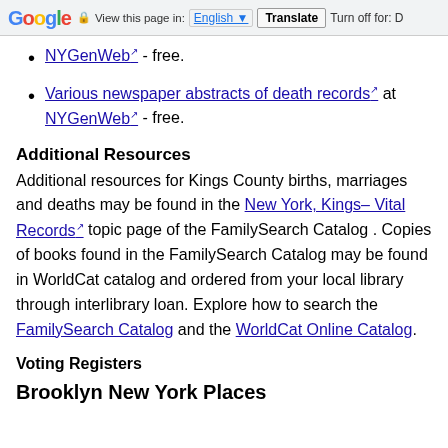Google — View this page in: English [▼] Translate Turn off for: D
NYGenWeb ↗ - free.
Various newspaper abstracts of death records ↗ at NYGenWeb ↗ - free.
Additional Resources
Additional resources for Kings County births, marriages and deaths may be found in the New York, Kings– Vital Records ↗ topic page of the FamilySearch Catalog . Copies of books found in the FamilySearch Catalog may be found in WorldCat catalog and ordered from your local library through interlibrary loan. Explore how to search the FamilySearch Catalog and the WorldCat Online Catalog.
Voting Registers
Brooklyn New York Places